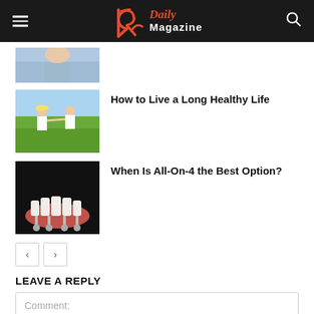R Daily Magazine
[Figure (photo): Partial cropped photo at top, person in blue, partially visible]
How to Live a Long Healthy Life
[Figure (photo): Two women in white dresses jumping in a green field holding hands]
When Is All-On-4 the Best Option?
[Figure (illustration): Dental implant model on black background showing All-On-4 teeth implants]
< >  (pagination buttons)
LEAVE A REPLY
Comment: